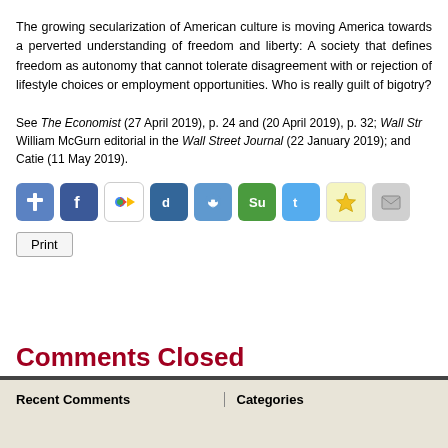The growing secularization of American culture is moving America towards a perverted understanding of freedom and liberty: A society that defines freedom as autonomy that cannot tolerate disagreement with or rejection of lifestyle choices or employment opportunities. Who is really guilt of bigotry?
See The Economist (27 April 2019), p. 24 and (20 April 2019), p. 32; Wall Street Journal William McGurn editorial in the Wall Street Journal (22 January 2019); and Catie (11 May 2019).
[Figure (other): Social sharing icons row: cross/faith icon (blue), Facebook (blue), Google+ (multicolor), Digg (blue), Reddit (blue), StumbleUpon (green), Twitter (blue), Favorites/star (yellow), Email (gray)]
Print
Comments Closed
Recent Comments
Categories